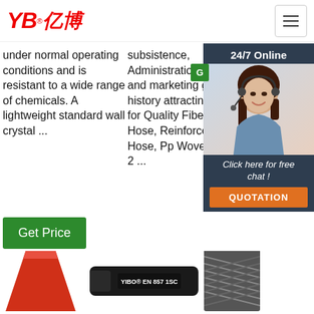[Figure (logo): YB亿博 company logo in red with registered trademark symbol]
[Figure (illustration): Hamburger menu icon button in top right corner]
under normal operating conditions and is resistant to a wide range of chemicals. A lightweight standard wall crystal ...
subsistence, Administration advertising and marketing gain, Credit history attracting buyers for Quality Fiber Reinforce Hose, Reinforced Plastic Hose, Pp Woven Big Bag, 2 ...
[Figure (infographic): 24/7 Online sidebar with customer service representative photo, 'Click here for free chat!' text and orange QUOTATION button]
[Figure (other): Get Price green button - left column]
[Figure (other): Get Price green button - middle column]
[Figure (illustration): Red cone/funnel shaped product at bottom left]
[Figure (photo): Black hose with YIBO EN 857 1SC label at bottom center]
[Figure (photo): Black braided hose at bottom right]
[Figure (illustration): TOP navigation icon with dots/arrows at bottom right]